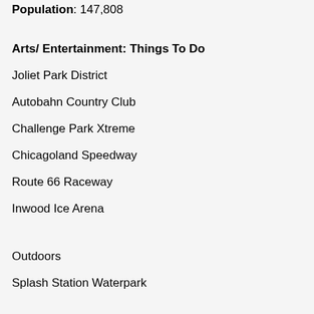Population: 147,808
Arts/ Entertainment: Things To Do
Joliet Park District
Autobahn Country Club
Challenge Park Xtreme
Chicagoland Speedway
Route 66 Raceway
Inwood Ice Arena
Outdoors
Splash Station Waterpark